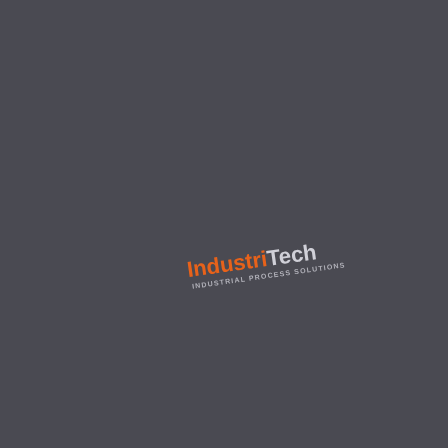[Figure (logo): IndustriTech logo with orange 'Industri' text and light grey 'Tech' text, with tagline 'INDUSTRIAL PROCESS SOLUTIONS' below, rotated slightly counter-clockwise on a dark grey background]